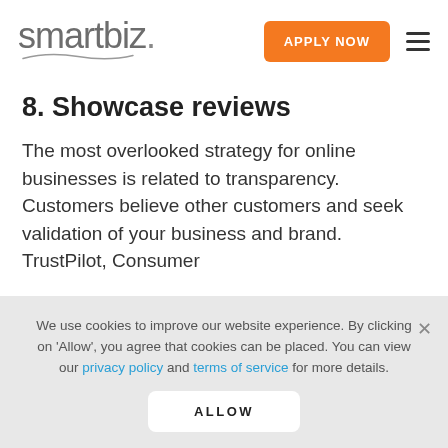smartbiz. | APPLY NOW
8. Showcase reviews
The most overlooked strategy for online businesses is related to transparency. Customers believe other customers and seek validation of your business and brand. TrustPilot, Consumer
We use cookies to improve our website experience. By clicking on 'Allow', you agree that cookies can be placed. You can view our privacy policy and terms of service for more details.
ALLOW